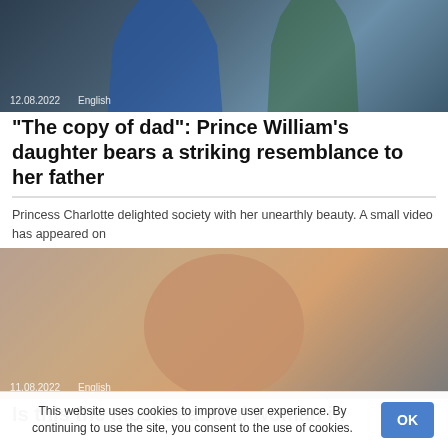[Figure (photo): Photo of a man in a suit (left) and a woman (right), outdoors, date overlay 12.08.2022 and language tag English]
“The copy of dad”: Prince William’s daughter bears a striking resemblance to her father
Princess Charlotte delighted society with her unearthly beauty. A small video has appeared on
[Figure (photo): Close-up portrait of a brunette woman with dangling earrings against a grey background, date overlay 11.08.2022 and language tag English]
Is this the most beautiful woman in
This website uses cookies to improve user experience. By continuing to use the site, you consent to the use of cookies.